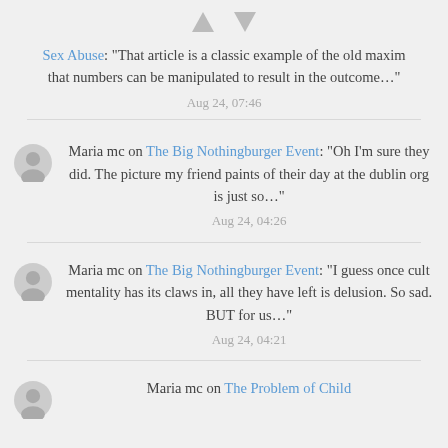Sex Abuse: “That article is a classic example of the old maxim that numbers can be manipulated to result in the outcome…”
Aug 24, 07:46
Maria mc on The Big Nothingburger Event: “Oh I’m sure they did. The picture my friend paints of their day at the dublin org is just so…”
Aug 24, 04:26
Maria mc on The Big Nothingburger Event: “I guess once cult mentality has its claws in, all they have left is delusion. So sad. BUT for us…”
Aug 24, 04:21
Maria mc on The Problem of Child